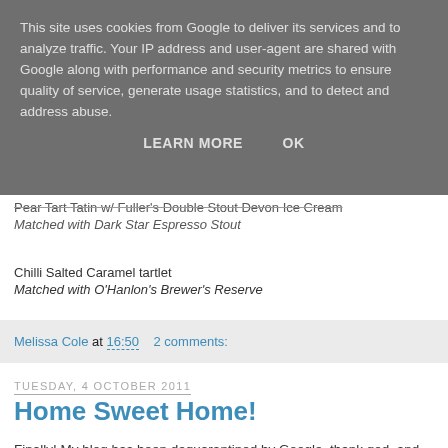This site uses cookies from Google to deliver its services and to analyze traffic. Your IP address and user-agent are shared with Google along with performance and security metrics to ensure quality of service, generate usage statistics, and to detect and address abuse.
LEARN MORE   OK
Pear Tart Tatin w/ Fuller's Double Stout Devon Ice Cream
Matched with Dark Star Espresso Stout
Chilli Salted Caramel tartlet
Matched with O'Hanlon's Brewer's Reserve
Melissa Cole at 16:50    2 comments:
Tuesday, 4 October 2011
Home Sweet Home!
Finally! My blog has been dequarantined by Google, thank god, and I've got a lot to catch up on, not least my